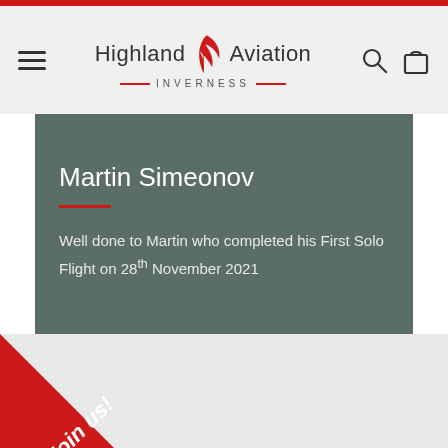[Figure (logo): Highland Aviation Inverness logo with red feather/wing graphic, search and bag icons, hamburger menu]
Martin Simeonov
Well done to Martin who completed his First Solo Flight on 28th November 2021
[Figure (illustration): Red diagonal banner in bottom-left corner with italic white text 'Join us!']